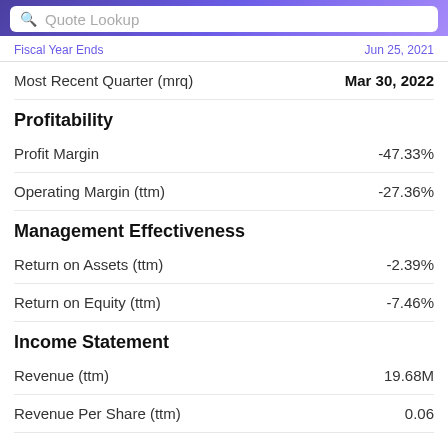Quote Lookup
Fiscal Year Ends — Jun 25, 2021
Most Recent Quarter (mrq)    Mar 30, 2022
Profitability
|  |  |
| --- | --- |
| Profit Margin | -47.33% |
| Operating Margin (ttm) | -27.36% |
Management Effectiveness
|  |  |
| --- | --- |
| Return on Assets (ttm) | -2.39% |
| Return on Equity (ttm) | -7.46% |
Income Statement
|  |  |
| --- | --- |
| Revenue (ttm) | 19.68M |
| Revenue Per Share (ttm) | 0.06 |